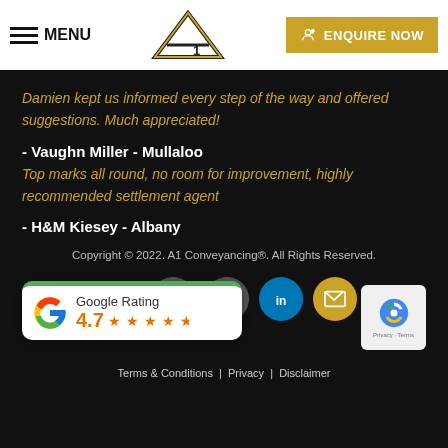MENU | A1 CONVEYANCING | ENQUIRE NOW
Damien kept us informed every step of the way and offered suggestions. Much appreciated!
- Vaughn Miller - Mullaloo
Top marks all round, no room for improvement, highly recommended settlement agent
- H&M Kiesey - Albany
Copyright © 2022. A1 Conveyancing®. All Rights Reserved.
Google Rating 4.7
Terms & Conditions | Privacy | Disclaimer